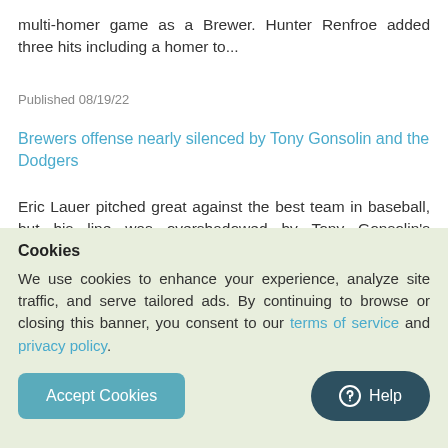multi-homer game as a Brewer. Hunter Renfroe added three hits including a homer to...
Published 08/19/22
Brewers offense nearly silenced by Tony Gonsolin and the Dodgers
Eric Lauer pitched great against the best team in baseball, but his line was overshadowed by Tony Gonsolin's dominant performance over the Brewers in a 2-1 Dodgers win on Wednesday night. Lauer completed seven innings again but only allowed a pair of solo home runs for the ...ing of the...
Cookies
We use cookies to enhance your experience, analyze site traffic, and serve tailored ads. By continuing to browse or closing this banner, you consent to our terms of service and privacy policy.
Accept Cookies
Help